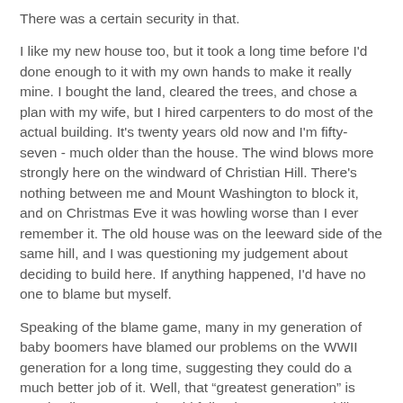There was a certain security in that.
I like my new house too, but it took a long time before I'd done enough to it with my own hands to make it really mine. I bought the land, cleared the trees, and chose a plan with my wife, but I hired carpenters to do most of the actual building. It's twenty years old now and I'm fifty-seven - much older than the house. The wind blows more strongly here on the windward of Christian Hill. There's nothing between me and Mount Washington to block it, and on Christmas Eve it was howling worse than I ever remember it. The old house was on the leeward side of the same hill, and I was questioning my judgement about deciding to build here. If anything happened, I'd have no one to blame but myself.
Speaking of the blame game, many in my generation of baby boomers have blamed our problems on the WWII generation for a long time, suggesting they could do a much better job of it. Well, that “greatest generation” is nearly all gone now. The old folks don't stay around like old houses. They die and we bury them and we become the elders. Most of our current world and national problems are created by guess who?